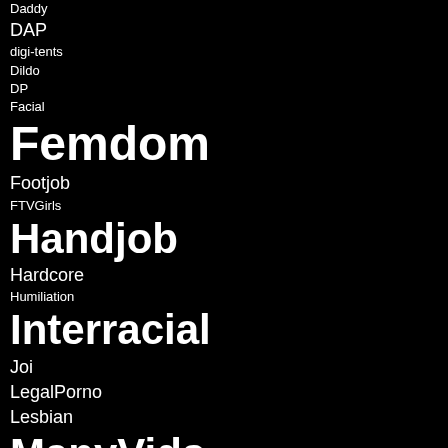Daddy
DAP
digi-tents
Dildo
DP
Facial
Femdom
Footjob
FTVGirls
Handjob
Hardcore
Humiliation
Interracial
Joi
LegalPorno
Lesbian
ManyVids
mature
Mature.nl
milf
Mydirtyhobby
Pissing